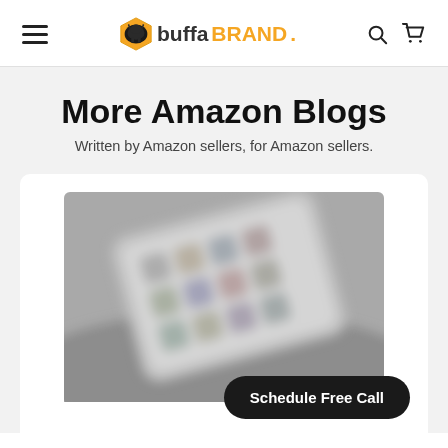[Figure (logo): buffaBRAND logo with hexagon bison icon]
More Amazon Blogs
Written by Amazon sellers, for Amazon sellers.
[Figure (photo): Blurred grayscale photo of a smartphone on a table]
Schedule Free Call